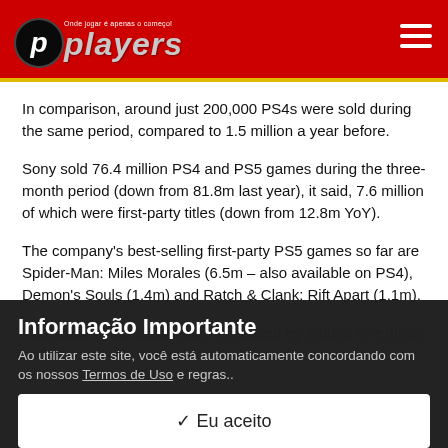players — Onde jogar é apenas o começo!
In comparison, around just 200,000 PS4s were sold during the same period, compared to 1.5 million a year before.
Sony sold 76.4 million PS4 and PS5 games during the three-month period (down from 81.8m last year), it said, 7.6 million of which were first-party titles (down from 12.8m YoY).
The company's best-selling first-party PS5 games so far are Spider-Man: Miles Morales (6.5m – also available on PS4), Demon's Souls (1.4m) and Ratch & Clank: Rift Apart (1.1m).
PlayStation Plus subscribers increased by around one million since Q1
Informação Importante
Ao utilizar este site, você está automaticamente concordando com os nossos Termos de Uso e regras..
✓ Eu aceito